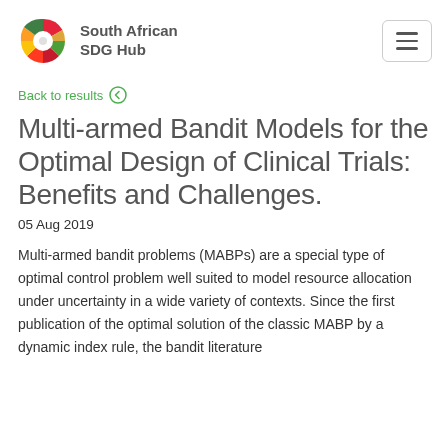South African SDG Hub
Back to results
Multi-armed Bandit Models for the Optimal Design of Clinical Trials: Benefits and Challenges.
05 Aug 2019
Multi-armed bandit problems (MABPs) are a special type of optimal control problem well suited to model resource allocation under uncertainty in a wide variety of contexts. Since the first publication of the optimal solution of the classic MABP by a dynamic index rule, the bandit literature has significantly grown, encompassing a growing number of topics and application areas.